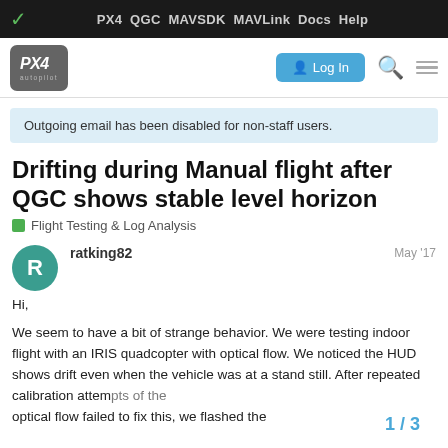PX4  QGC  MAVSDK  MAVLink  Docs  Help
[Figure (logo): PX4 Autopilot logo with Log In button, search and menu icons]
Outgoing email has been disabled for non-staff users.
Drifting during Manual flight after QGC shows stable level horizon
Flight Testing & Log Analysis
ratking82  May '17
Hi,

We seem to have a bit of strange behavior. We were testing indoor flight with an IRIS quadcopter with optical flow. We noticed the HUD shows drift even when the vehicle was at a stand still. After repeated calibration attempts of the optical flow failed to fix this, we flashed the
1 / 3